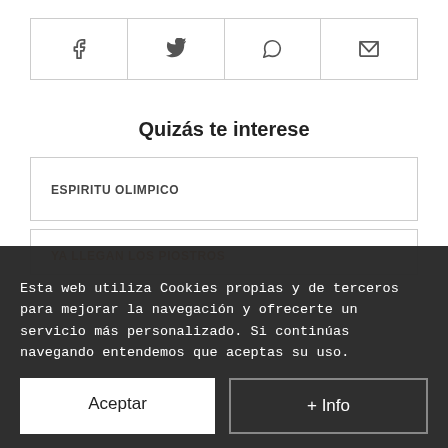[Figure (infographic): Social share buttons bar with four icons: Facebook, Twitter, WhatsApp, Email]
Quizás te interese
ESPIRITU OLIMPICO
YA LLEGAN LOS PIOSTROS
PATRONAS DE LA OLIMPIADA
Esta web utiliza Cookies propias y de terceros para mejorar la navegación y ofrecerte un servicio más personalizado. Si continúas navegando entendemos que aceptas su uso.
Aceptar
+ Info